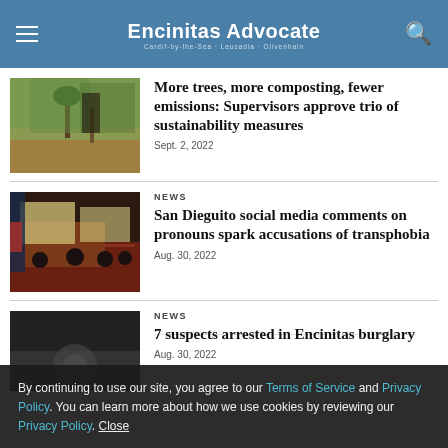Encinitas Advocate
[Figure (photo): Person planting or working with a tree sapling in an outdoor field]
More trees, more composting, fewer emissions: Supervisors approve trio of sustainability measures
Sept. 2, 2022
[Figure (photo): Meeting room with people seated at a table with a red tablecloth and a projection screen]
NEWS
San Dieguito social media comments on pronouns spark accusations of transphobia
Aug. 30, 2022
[Figure (photo): Partially visible third article image, dark toned]
NEWS
7 suspects arrested in Encinitas burglary
Aug. 30, 2022
By continuing to use our site, you agree to our Terms of Service and Privacy Policy. You can learn more about how we use cookies by reviewing our Privacy Policy. Close